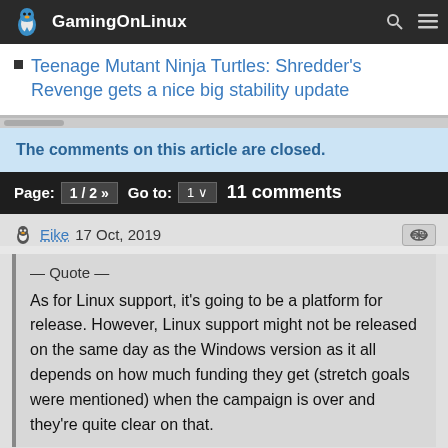GamingOnLinux
Teenage Mutant Ninja Turtles: Shredder's Revenge gets a nice big stability update
The comments on this article are closed.
Page: 1 / 2 »  Go to: 1  11 comments
Eike  17 Oct, 2019
— Quote —
As for Linux support, it's going to be a platform for release. However, Linux support might not be released on the same day as the Windows version as it all depends on how much funding they get (stretch goals were mentioned) when the campaign is over and they're quite clear on that.